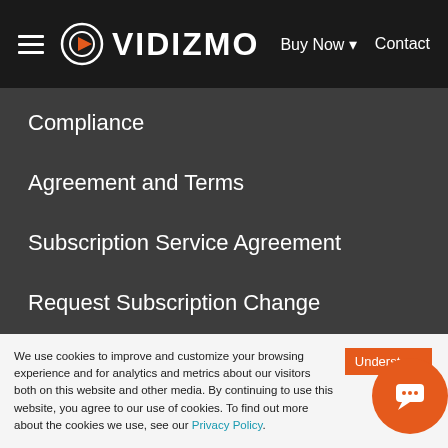VIDIZMO | Buy Now | Contact
Compliance
Agreement and Terms
Subscription Service Agreement
Request Subscription Change
Resources
About Us
Case Studies
We use cookies to improve and customize your browsing experience and for analytics and metrics about our visitors both on this website and other media. By continuing to use this website, you agree to our use of cookies. To find out more about the cookies we use, see our Privacy Policy.